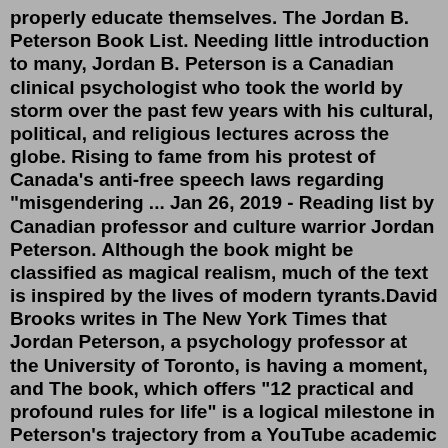properly educate themselves. The Jordan B. Peterson Book List. Needing little introduction to many, Jordan B. Peterson is a Canadian clinical psychologist who took the world by storm over the past few years with his cultural, political, and religious lectures across the globe. Rising to fame from his protest of Canada's anti-free speech laws regarding "misgendering ... Jan 26, 2019 - Reading list by Canadian professor and culture warrior Jordan Peterson. Although the book might be classified as magical realism, much of the text is inspired by the lives of modern tyrants.David Brooks writes in The New York Times that Jordan Peterson, a psychology professor at the University of Toronto, is having a moment, and The book, which offers "12 practical and profound rules for life" is a logical milestone in Peterson's trajectory from a YouTube academic known for his...Jordan B. Peterson with George Orwell statue. 12 Rules for Life draws very heavily on books I have loved and that have devastated and rebuilt me. I discuss these works repeatedly.